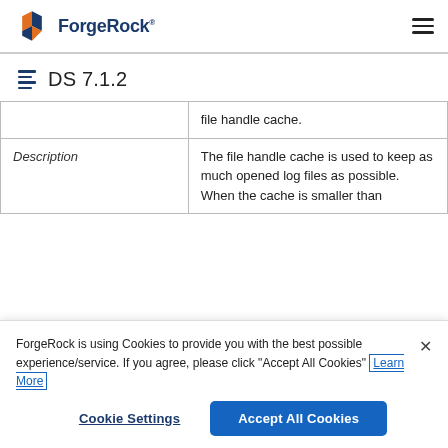ForgeRock DS 7.1.2
DS 7.1.2
|  | file handle cache. |
| Description | The file handle cache is used to keep as much opened log files as possible. When the cache is smaller than |
ForgeRock is using Cookies to provide you with the best possible experience/service. If you agree, please click "Accept All Cookies" Learn More